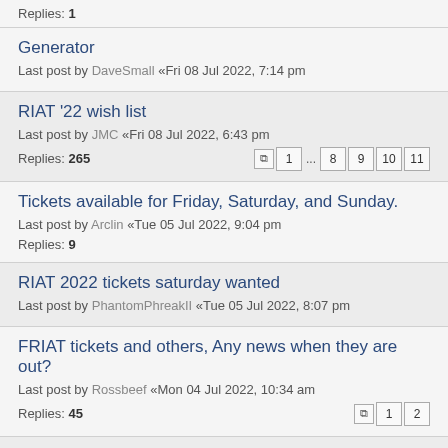Replies: 1
Generator
Last post by DaveSmall «Fri 08 Jul 2022, 7:14 pm
RIAT '22 wish list
Last post by JMC «Fri 08 Jul 2022, 6:43 pm
Replies: 265  [pages: 1 ... 8 9 10 11]
Tickets available for Friday, Saturday, and Sunday.
Last post by Arclin «Tue 05 Jul 2022, 9:04 pm
Replies: 9
RIAT 2022 tickets saturday wanted
Last post by PhantomPhreakII «Tue 05 Jul 2022, 8:07 pm
FRIAT tickets and others, Any news when they are out?
Last post by Rossbeef «Mon 04 Jul 2022, 10:34 am
Replies: 45  [pages: 1 2]
Passouts from the showground
Last post by coanda «Sun 03 Jul 2022, 6:13 pm
Replies: 4
riat newbie